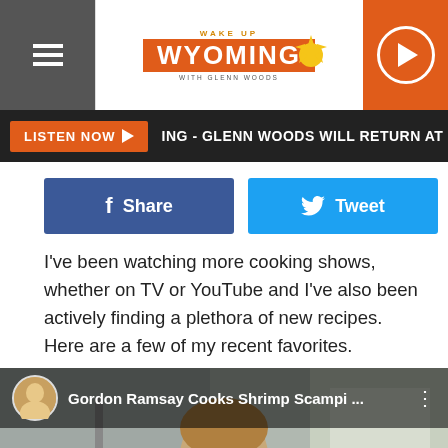Wake Up Wyoming with Glenn Woods
LISTEN NOW ▶ ING - GLENN WOODS WILL RETURN AT 6:00 AM K
[Figure (screenshot): Facebook Share button (blue) and Twitter Tweet button (light blue)]
I've been watching more cooking shows, whether on TV or YouTube and I've also been actively finding a plethora of new recipes. Here are a few of my recent favorites.
[Figure (screenshot): YouTube video thumbnail for Gordon Ramsay Cooks Shrimp Scampi ... with YouTube play button overlay and RAMSAY logo at bottom right]